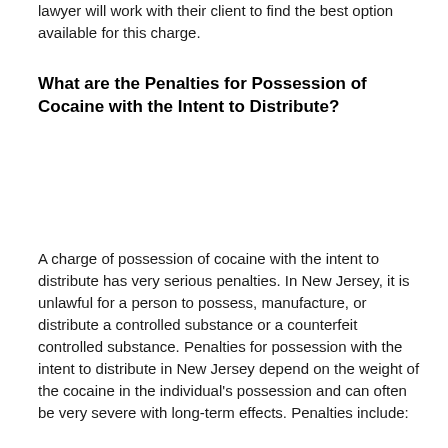lawyer will work with their client to find the best option available for this charge.
What are the Penalties for Possession of Cocaine with the Intent to Distribute?
A charge of possession of cocaine with the intent to distribute has very serious penalties. In New Jersey, it is unlawful for a person to possess, manufacture, or distribute a controlled substance or a counterfeit controlled substance. Penalties for possession with the intent to distribute in New Jersey depend on the weight of the cocaine in the individual's possession and can often be very severe with long-term effects. Penalties include: